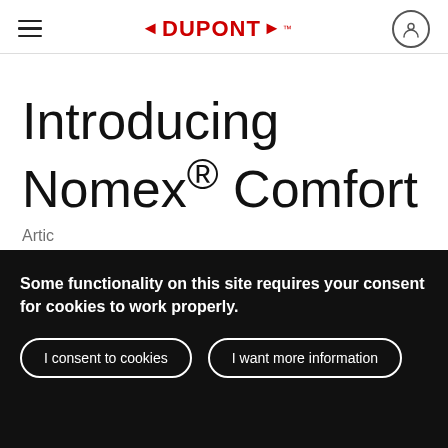DuPont navigation header with hamburger menu and user icon
Introducing Nomex® Comfort
Some functionality on this site requires your consent for cookies to work properly.